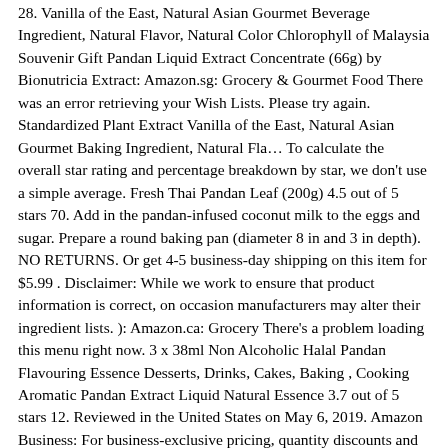28. Vanilla of the East, Natural Asian Gourmet Beverage Ingredient, Natural Flavor, Natural Color Chlorophyll of Malaysia Souvenir Gift Pandan Liquid Extract Concentrate (66g) by Bionutricia Extract: Amazon.sg: Grocery & Gourmet Food There was an error retrieving your Wish Lists. Please try again. Standardized Plant Extract Vanilla of the East, Natural Asian Gourmet Baking Ingredient, Natural Fla… To calculate the overall star rating and percentage breakdown by star, we don't use a simple average. Fresh Thai Pandan Leaf (200g) 4.5 out of 5 stars 70. Add in the pandan-infused coconut milk to the eggs and sugar. Prepare a round baking pan (diameter 8 in and 3 in depth). NO RETURNS. Or get 4-5 business-day shipping on this item for $5.99 . Disclaimer: While we work to ensure that product information is correct, on occasion manufacturers may alter their ingredient lists. ): Amazon.ca: Grocery There's a problem loading this menu right now. 3 x 38ml Non Alcoholic Halal Pandan Flavouring Essence Desserts, Drinks, Cakes, Baking , Cooking Aromatic Pandan Extract Liquid Natural Essence 3.7 out of 5 stars 12. Reviewed in the United States on May 6, 2019. Amazon Business: For business-exclusive pricing, quantity discounts and downloadable VAT invoices. £10.89. Pandan Paste, also known as pandanus extract or screwpine paste, is delightful scent that's used throughout Southeast Asia especially Thailand (known as "Bai Toey"). Your recently viewed items and featured recommendations, Select the department you want to search in, Butterfly Pandan Flavoring Extract 0.8 Oz, Brand New, 100% Vitamin C, This